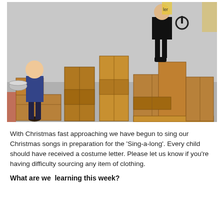[Figure (photo): Two children standing on stacked wooden crates/boxes in a classroom. The child on the left holds a large silver mixing bowl. The child on the right stands on a higher stack of boxes.]
With Christmas fast approaching we have begun to sing our Christmas songs in preparation for the 'Sing-a-long'. Every child should have received a costume letter. Please let us know if you're having difficulty sourcing any item of clothing.
What are we  learning this week?